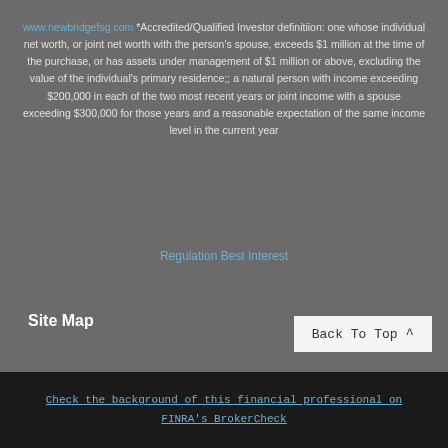www.newbridgefsg.com *Accredited/Qualified Investor definitiion: one whose individual net worth, or joint net worth with the person's spouse, exceeds $1 million at the time of the purchase, or has assets under management of $1 million or above, excluding the value of the individual's primary residence;; a natural person with income exceeding $200,000 in each of the two most recent years or joint income with a spouse exceeding $300,000 for those years and a reasonable expectation of the same income level in the current year
Regulation Best Interest
Site Map
Back To Top
Check the background of this financial professional on FINRA's BrokerCheck